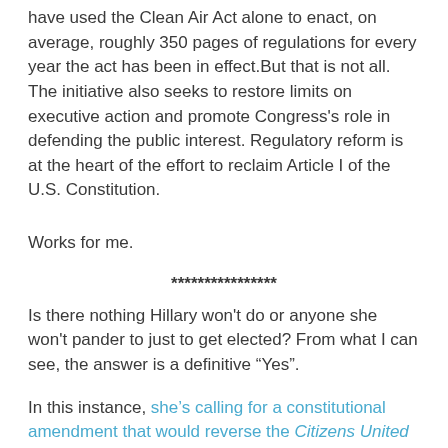have used the Clean Air Act alone to enact, on average, roughly 350 pages of regulations for every year the act has been in effect.But that is not all. The initiative also seeks to restore limits on executive action and promote Congress's role in defending the public interest. Regulatory reform is at the heart of the effort to reclaim Article I of the U.S. Constitution.
Works for me.
****************
Is there nothing Hillary won't do or anyone she won't pander to just to get elected? From what I can see, the answer is a definitive “Yes”.
In this instance, she’s calling for a constitutional amendment that would reverse the Citizens United decision in order to “get big money out of politics.”
Of course I expect it’s merely electoral rhetoric because she